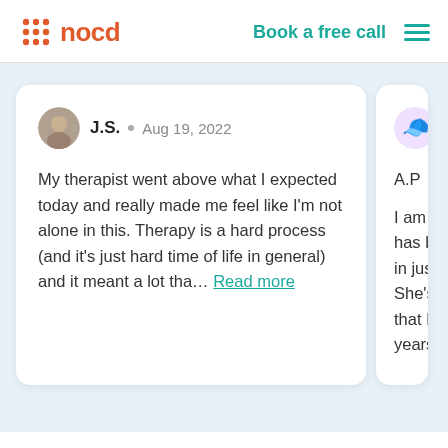nocd | Book a free call
J.S. • Aug 19, 2022 — My therapist went above what I expected today and really made me feel like I'm not alone in this. Therapy is a hard process (and it's just hard time of life in general) and it meant a lot tha... Read more
A.P — I am am has bee in just 3 s She's he that I've years. I f